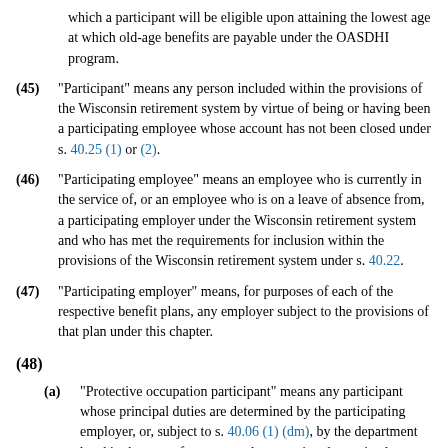which a participant will be eligible upon attaining the lowest age at which old-age benefits are payable under the OASDHI program.
(45) "Participant" means any person included within the provisions of the Wisconsin retirement system by virtue of being or having been a participating employee whose account has not been closed under s. 40.25 (1) or (2).
(46) "Participating employee" means an employee who is currently in the service of, or an employee who is on a leave of absence from, a participating employer under the Wisconsin retirement system and who has met the requirements for inclusion within the provisions of the Wisconsin retirement system under s. 40.22.
(47) "Participating employer" means, for purposes of each of the respective benefit plans, any employer subject to the provisions of that plan under this chapter.
(48)
(a) "Protective occupation participant" means any participant whose principal duties are determined by the participating employer, or, subject to s. 40.06 (1) (dm), by the department head in the case of a state employee, to involve active law enforcement or active fire suppression or prevention, provided the duties require frequent exposure to a high degree of danger or peril and also require a high degree of physical conditioning.